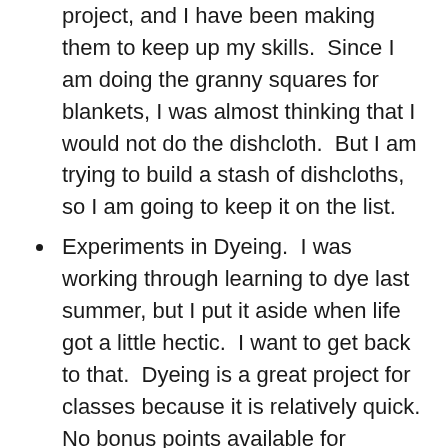project, and I have been making them to keep up my skills.  Since I am doing the granny squares for blankets, I was almost thinking that I would not do the dishcloth.  But I am trying to build a stash of dishcloths, so I am going to keep it on the list.
Experiments in Dyeing.  I was working through learning to dye last summer, but I put it aside when life got a little hectic.  I want to get back to that.  Dyeing is a great project for classes because it is relatively quick.  No bonus points available for yardage, though.
One Granny Square for the blanket.
Maple Leaf Shawl.  I've already done one of these, and I'm going to make several for gifts.
Another Monster for Avery's hospital.
Back up / Extra classes will be Granny